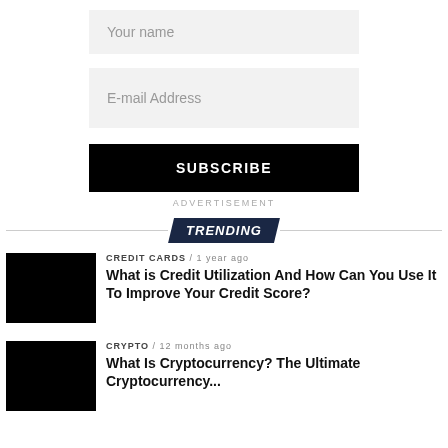Your name
E-mail Address
SUBSCRIBE
ADVERTISEMENT
TRENDING
CREDIT CARDS / 1 year ago
What is Credit Utilization And How Can You Use It To Improve Your Credit Score?
CRYPTO / 12 months ago
What Is Cryptocurrency? The Ultimate Cryptocurrency...